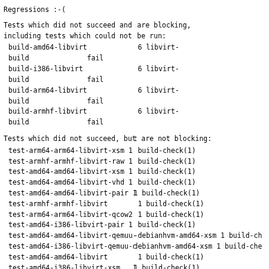Regressions :-(
Tests which did not succeed and are blocking,
including tests which could not be run:
build-amd64-libvirt        6 libvirt-build              fail
build-i386-libvirt         6 libvirt-build              fail
build-arm64-libvirt        6 libvirt-build              fail
build-armhf-libvirt        6 libvirt-build              fail
Tests which did not succeed, but are not blocking:
test-arm64-arm64-libvirt-xsm  1 build-check(1)
test-armhf-armhf-libvirt-raw  1 build-check(1)
test-amd64-amd64-libvirt-xsm  1 build-check(1)
test-amd64-amd64-libvirt-vhd  1 build-check(1)
test-amd64-amd64-libvirt-pair  1 build-check(1)
test-armhf-armhf-libvirt       1 build-check(1)
test-arm64-arm64-libvirt-qcow2  1 build-check(1)
test-amd64-i386-libvirt-pair  1 build-check(1)
test-amd64-amd64-libvirt-qemuu-debianhvm-amd64-xsm 1 build-ch
test-amd64-i386-libvirt-qemuu-debianhvm-amd64-xsm 1 build-che
test-amd64-amd64-libvirt       1 build-check(1)
test-amd64-i386-libvirt-xsm   1 build-check(1)
test-amd64-i386-libvirt        1 build-check(1)
test-arm64-arm64-libvirt       1 build-check(1)